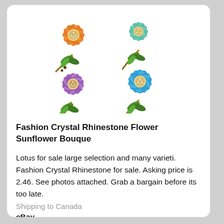[Figure (photo): Four flower brooches arranged in a 2x2 grid: top-left orange sunflower brooch, top-right teal/green flower brooch, bottom-left purple flower brooch, bottom-right blue flower brooch, each on a gold stem with green leaves.]
Fashion Crystal Rhinestone Flower Sunflower Bouque
Lotus for sale large selection and many varieti. Fashion Crystal Rhinestone for sale. Asking price is 2.46. See photos attached. Grab a bargain before its too late.
Shipping to Canada
eBay
Price: 2.46 C$